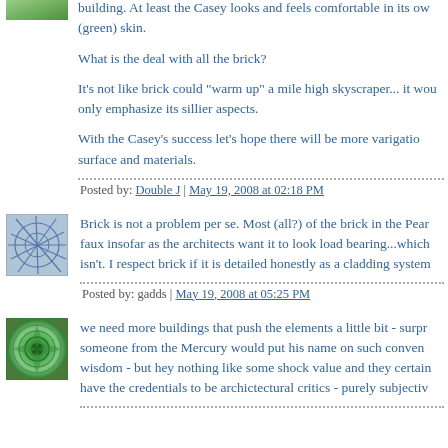building. At least the Casey looks and feels comfortable in its own (green) skin.
What is the deal with all the brick?
It's not like brick could "warm up" a mile high skyscraper... it would only emphasize its sillier aspects.
With the Casey's success let's hope there will be more varigation surface and materials.
Posted by: Double J | May 19, 2008 at 02:18 PM
[Figure (photo): Avatar image with blue/grey lines pattern]
Brick is not a problem per se. Most (all?) of the brick in the Pear faux insofar as the architects want it to look load bearing...which isn't. I respect brick if it is detailed honestly as a cladding system
Posted by: gadds | May 19, 2008 at 05:25 PM
[Figure (photo): Avatar image with green spiral pattern]
we need more buildings that push the elements a little bit - surpr someone from the Mercury would put his name on such conven wisdom - but hey nothing like some shock value and they certain have the credentials to be archictectural critics - purely subjectiv